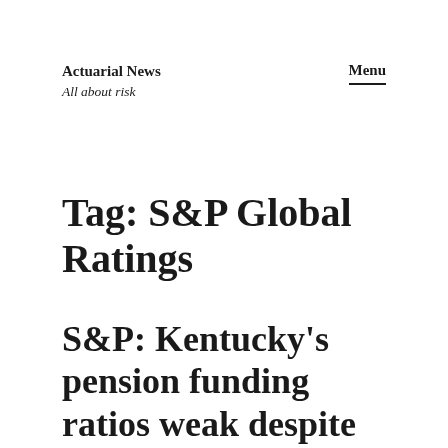Actuarial News
All about risk
Menu
Tag: S&P Global Ratings
S&P: Kentucky's pension funding ratios weak despite improvements